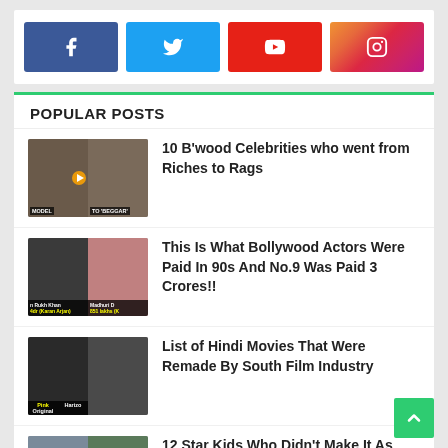[Figure (infographic): Social media buttons: Facebook (blue), Twitter (light blue), YouTube (red), Instagram (gradient pink/orange)]
POPULAR POSTS
10 B'wood Celebrities who went from Riches to Rags
This Is What Bollywood Actors Were Paid In 90s And No.9 Was Paid 3 Crores!!
List of Hindi Movies That Were Remade By South Film Industry
12 Star Kids Who Didn't Make It As Actors But Are Running Multi-Crore Business